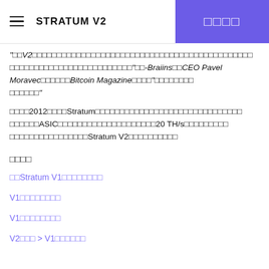STRATUM V2 | □□□□
"□□V2□□□□□□□□□□□□□□□□□□□□□□□□□□□□□□□□□□□□□□□□□□□□ □□□□□□□□□□□□□□□□□□□□□□□□□"□□-Braiins□□CEO Pavel Moravec□□□□□□Bitcoin Magazine□□□□"□□□□□□□□ □□□□□□"
□□□□2012□□□□Stratum□□□□□□□□□□□□□□□□□□□□□□□□□□□□□□ASIC□□□□□□□□□□□□□□□□□□20 TH/s□□□□□□□□ □□□□□□□□□□□□□□□Stratum V2□□□□□□□□□□
□□□□
□□Stratum V1□□□□□□□□
V1□□□□□□□□
V1□□□□□□□□
V2□□□ > V1□□□□□□